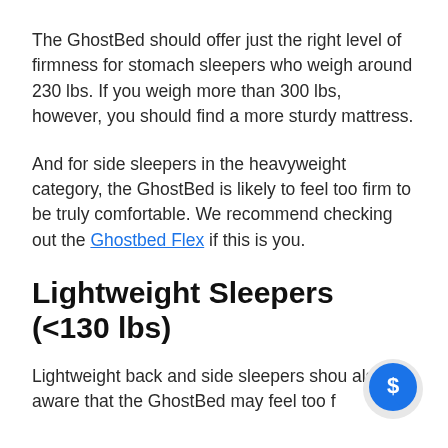The GhostBed should offer just the right level of firmness for stomach sleepers who weigh around 230 lbs. If you weigh more than 300 lbs, however, you should find a more sturdy mattress.
And for side sleepers in the heavyweight category, the GhostBed is likely to feel too firm to be truly comfortable. We recommend checking out the Ghostbed Flex if this is you.
Lightweight Sleepers (<130 lbs)
Lightweight back and side sleepers shou also be aware that the GhostBed may feel too f…
[Figure (illustration): Blue circular chat bubble icon with a dollar sign inside, positioned in the bottom-right corner of the page.]